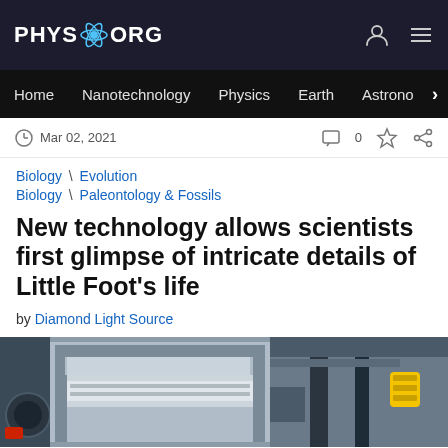PHYS.ORG
Home | Nanotechnology | Physics | Earth | Astronomy >
Mar 02, 2021  0
Biology \ Evolution
Biology \ Paleontology & Fossils
New technology allows scientists first glimpse of intricate details of Little Foot's life
by Diamond Light Source
[Figure (photo): Scientific laboratory equipment showing a synchrotron or X-ray beamline apparatus with metal frames, slides, and yellow safety equipment visible]